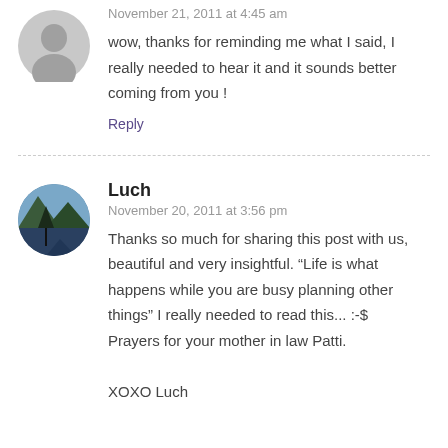November 21, 2011 at 4:45 am
wow, thanks for reminding me what I said, I really needed to hear it and it sounds better coming from you !
Reply
Luch
November 20, 2011 at 3:56 pm
Thanks so much for sharing this post with us, beautiful and very insightful. “Life is what happens while you are busy planning other things” I really needed to read this... :-$ Prayers for your mother in law Patti.

XOXO Luch